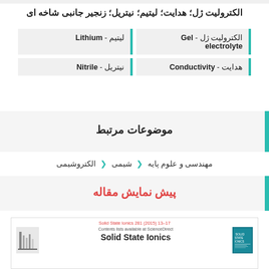الکترولیت ژل؛ هدایت؛ لیتیم؛ نیتریل؛ زنجیر جانبی شاخه ای
الکترولیت ژل - Gel electrolyte
لیتیم - Lithium
هدایت - Conductivity
نیتریل - Nitrile
موضوعات مرتبط
مهندسی و علوم پایه › شیمی › الکتروشیمی
پیش نمایش مقاله
[Figure (screenshot): Preview of Solid State Ionics journal article page showing Elsevier logo and journal title]